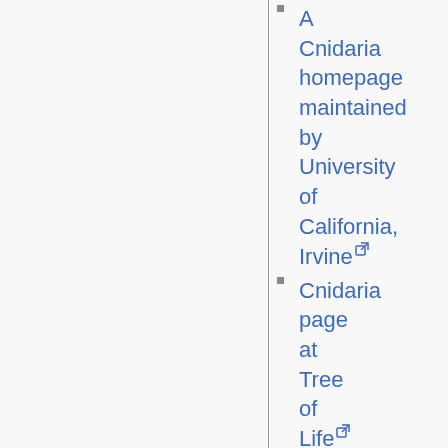A Cnidaria homepage maintained by University of California, Irvine [external link]
Cnidaria page at Tree of Life [external link]
[1] [external link]